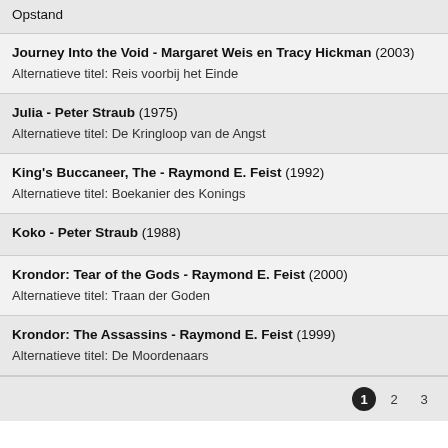Opstand
Journey Into the Void - Margaret Weis en Tracy Hickman (2003)
Alternatieve titel: Reis voorbij het Einde
Julia - Peter Straub (1975)
Alternatieve titel: De Kringloop van de Angst
King's Buccaneer, The - Raymond E. Feist (1992)
Alternatieve titel: Boekanier des Konings
Koko - Peter Straub (1988)
Krondor: Tear of the Gods - Raymond E. Feist (2000)
Alternatieve titel: Traan der Goden
Krondor: The Assassins - Raymond E. Feist (1999)
Alternatieve titel: De Moordenaars
1 2 3